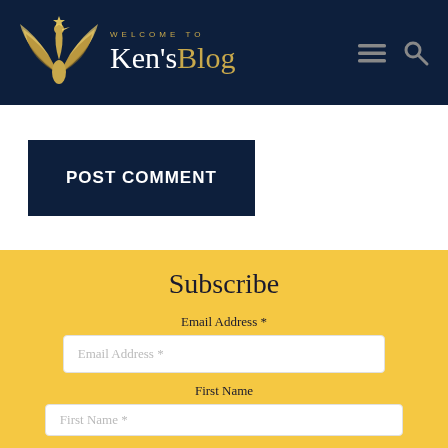WELCOME TO Ken'sBlog
POST COMMENT
Subscribe
Email Address *
Email Address *
First Name
First Name *